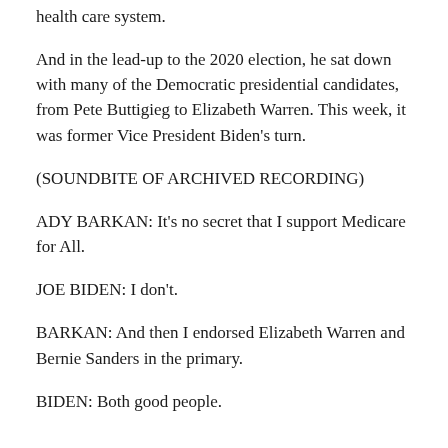health care system.
And in the lead-up to the 2020 election, he sat down with many of the Democratic presidential candidates, from Pete Buttigieg to Elizabeth Warren. This week, it was former Vice President Biden's turn.
(SOUNDBITE OF ARCHIVED RECORDING)
ADY BARKAN: It's no secret that I support Medicare for All.
JOE BIDEN: I don't.
BARKAN: And then I endorsed Elizabeth Warren and Bernie Sanders in the primary.
BIDEN: Both good people.